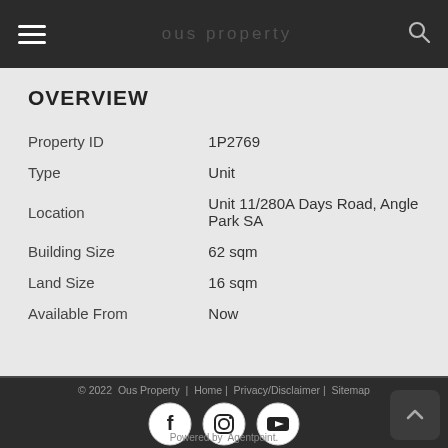ous property [navigation bar with hamburger menu and search icon]
OVERVIEW
| Field | Value |
| --- | --- |
| Property ID | 1P2769 |
| Type | Unit |
| Location | Unit 11/280A Days Road, Angle Park SA |
| Building Size | 62 sqm |
| Land Size | 16 sqm |
| Available From | Now |
© 2022  Ous Property  |  Home |  Privacy/Disclaimer |  Sitemap
Powered by  Agentpoint.